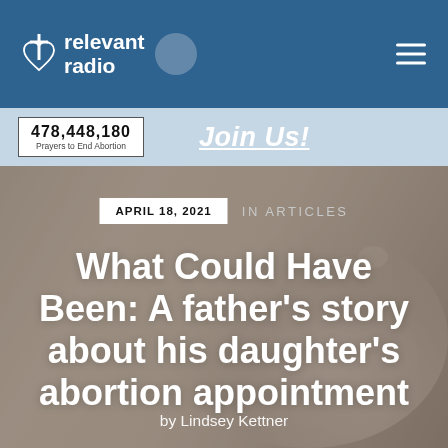relevant radio
478,448,180 Prayers to End Abortion
Join Us!
[Figure (photo): Blurred background photo of baby feet on a soft surface, used as hero image backdrop]
APRIL 18, 2021   IN ARTICLES
What Could Have Been: A father's story about his daughter's abortion appointment
by Lindsey Kettner